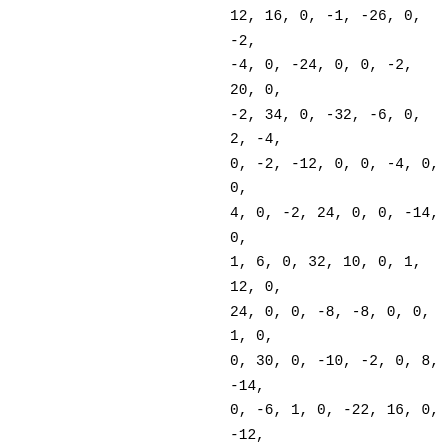12, 16, 0, -1, -26, 0, -2,
-4, 0, -24, 0, 0, -2, 20, 0,
-2, 34, 0, -32, -6, 0, 2, -4,
0, -2, -12, 0, 0, -4, 0, 0,
4, 0, -2, 24, 0, 0, -14, 0,
1, 6, 0, 32, 10, 0, 1, 12, 0,
24, 0, 0, -8, -8, 0, 0, 1, 0,
0, 30, 0, -10, -2, 0, 8, -14,
0, -6, 1, 0, -22, 16, 0, -12,
8, 0, 0, 28, 0, -6, -20, 0,
-12, 32, 0, -19, -14, 0, 0,
0, 0, -20, 2, 0, 18, 1, 0,
-24, 24, 0, -4, 4, 0, 0, -4,
0, 1, 0, 0, -8, 6, 0, -20,
-22, 0, 0, -1, 0, -8, 4, 0,
-4, 6, 0, 8, 36, 0, -10, 0,
0, 2, -2, 0, 2, -1, 0, -6,
-8, 0, -14, 6, 0, 10, 12, 0,
0, 0, 0, -8, -8, 0, 4, -18,
0, 0, 36, 0, -2, 4, 0, 0, 1,